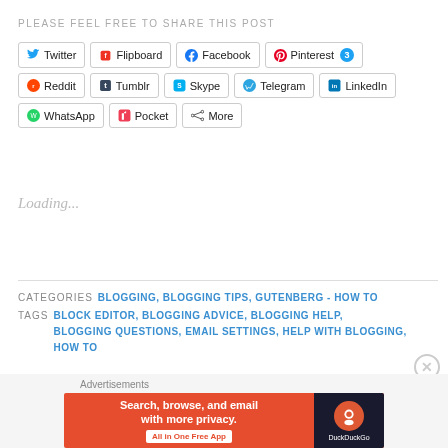PLEASE FEEL FREE TO SHARE THIS POST
[Figure (screenshot): Social share buttons: Twitter, Flipboard, Facebook, Pinterest (3), Reddit, Tumblr, Skype, Telegram, LinkedIn, WhatsApp, Pocket, More]
Loading...
CATEGORIES  BLOGGING, BLOGGING TIPS, GUTENBERG - HOW TO
TAGS  BLOCK EDITOR, BLOGGING ADVICE, BLOGGING HELP, BLOGGING QUESTIONS, EMAIL SETTINGS, HELP WITH BLOGGING, HOW TO
[Figure (screenshot): Advertisement banner: DuckDuckGo - Search, browse, and email with more privacy. All in One Free App]